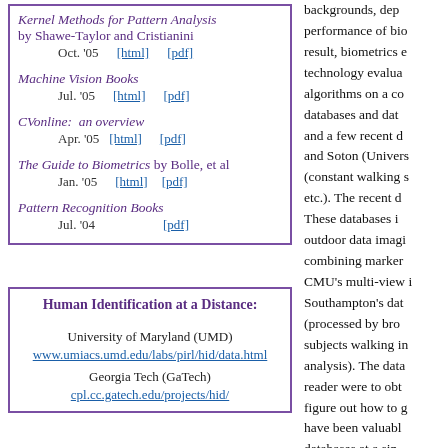Kernel Methods for Pattern Analysis by Shawe-Taylor and Cristianini Oct. '05 [html] [pdf]
Machine Vision Books Jul. '05 [html] [pdf]
CVonline: an overview Apr. '05 [html] [pdf]
The Guide to Biometrics by Bolle, et al Jan. '05 [html] [pdf]
Pattern Recognition Books Jul. '04 [pdf]
Human Identification at a Distance:
University of Maryland (UMD)
www.umiacs.umd.edu/labs/pirl/hid/data.html
Georgia Tech (GaTech)
cpl.cc.gatech.edu/projects/hid/
backgrounds, dep performance of bio result, biometrics e technology evalua algorithms on a co databases and dat and a few recent d and Soton (Univers (constant walking s etc.). The recent d These databases i outdoor data imagi combining marker CMU's multi-view i Southampton's dat (processed by bro subjects walking in analysis). The data reader were to obt figure out how to g have been valuabl databases at a sin book or links from Chapter 4 reviews